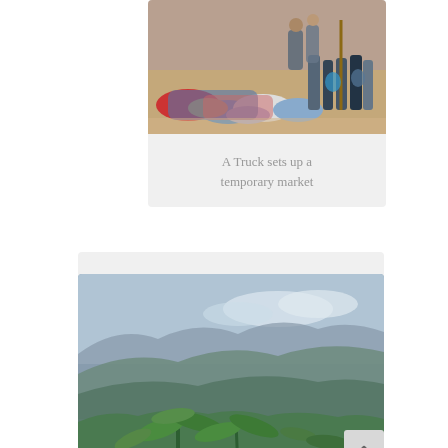[Figure (photo): Photo of a truck setting up a temporary market. Colorful clothing and fabrics are laid out on the ground. People stand in the background, some holding sticks. Dusty outdoor setting.]
A Truck sets up a temporary market
[Figure (photo): Photo of a mountain landscape with lush green tropical vegetation (banana/palm plants) in the foreground and rolling blue-green mountain ridges extending into the distance. Overcast sky with clouds.]